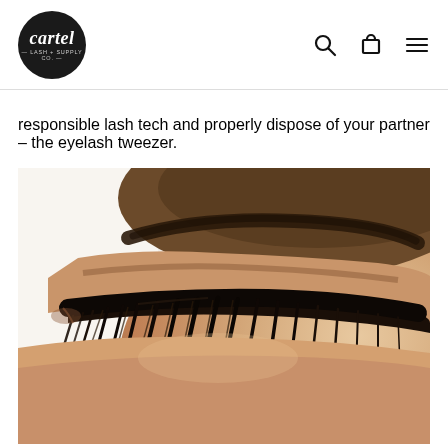cartel Lash + Supply Co. [logo] [search icon] [cart icon] [menu icon]
responsible lash tech and properly dispose of your partner – the eyelash tweezer.
[Figure (photo): Close-up photo of a woman's eye with dramatic eyelash extensions, with tweezers holding a lash fan below the eye]